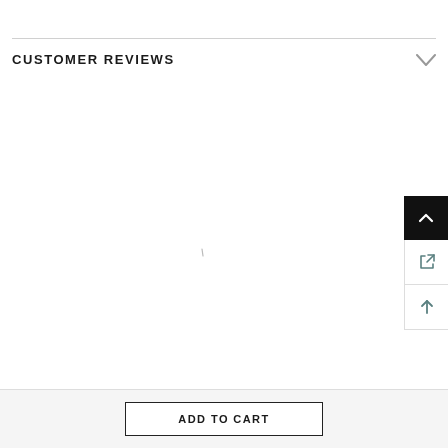CUSTOMER REVIEWS
[Figure (screenshot): Loading spinner icon in center of customer reviews section]
[Figure (other): Floating action buttons on right side: scroll-to-top (black), share/external link, and up-arrow buttons]
ADD TO CART